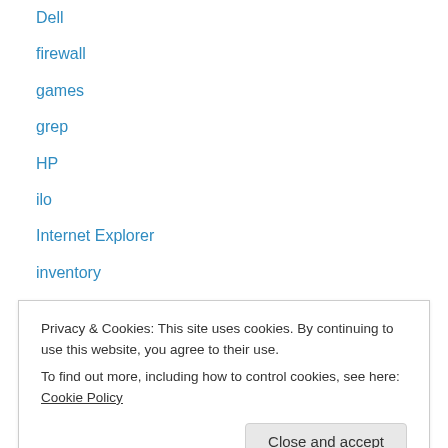Dell
firewall
games
grep
HP
ilo
Internet Explorer
inventory
iPad
iphone
IPMI
Java
job hunt
Privacy & Cookies: This site uses cookies. By continuing to use this website, you agree to their use.
To find out more, including how to control cookies, see here: Cookie Policy
Office